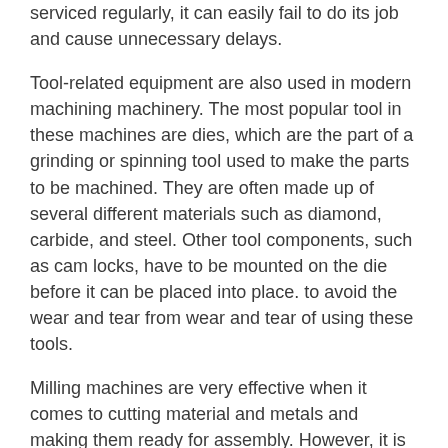serviced regularly, it can easily fail to do its job and cause unnecessary delays.
Tool-related equipment are also used in modern machining machinery. The most popular tool in these machines are dies, which are the part of a grinding or spinning tool used to make the parts to be machined. They are often made up of several different materials such as diamond, carbide, and steel. Other tool components, such as cam locks, have to be mounted on the die before it can be placed into place. to avoid the wear and tear from wear and tear of using these tools.
Milling machines are very effective when it comes to cutting material and metals and making them ready for assembly. However, it is important to be careful with these machines because they have to be carefully maintained in order to ensure they work properly.
There are many different types of cleaning solutions available today that can help keep your grinding machine running smoothly. These include chemical cleaning solutions, lubricants, and industrial fluids. When using any of these solutions, you need to make sure you follow the manufacturer's guidelines to prevent damaging your machine